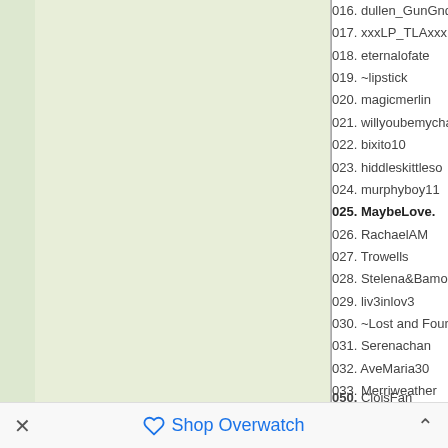016. dullen_GunGnde
017. xxxLP_TLAxxx
018. eternalofate
019. ~lipstick
020. magicmerlin
021. willyoubemycharizard
022. bixito10
023. hiddleskittleso
024. murphyboy11
025. MaybeLove.
026. RachaelAM
027. Trowells
028. Stelena&Bamon
029. liv3inlov3
030. ~Lost and Found~
031. Serenachan
032. AveMaria30
033. Merriweather
034. Bellaz
035. Gwenny39VD
036. KennethWormald
037. acoustichearts
038. moonlightstar
039. Lozza~TheAussieChick~
040. aelita
041. JRBudgrl8
042. Britt1975
043. Kjammi
044. protogurl0801
045. Leah_LL_Fan
046. OlicityFan
047. Ron_Cullen
048. annad13
049. naturellebella
050. CloisFan
051. KeepThisaSecret
052. Swill~
Shop Overwatch